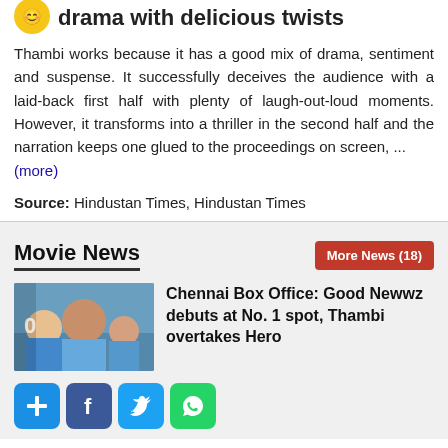drama with delicious twists
Thambi works because it has a good mix of drama, sentiment and suspense. It successfully deceives the audience with a laid-back first half with plenty of laugh-out-loud moments. However, it transforms into a thriller in the second half and the narration keeps one glued to the proceedings on screen, ...
(more)
Source: Hindustan Times, Hindustan Times
Movie News
More News (18)
[Figure (photo): Movie promotional image showing group of people posing together]
Chennai Box Office: Good Newwz debuts at No. 1 spot, Thambi overtakes Hero